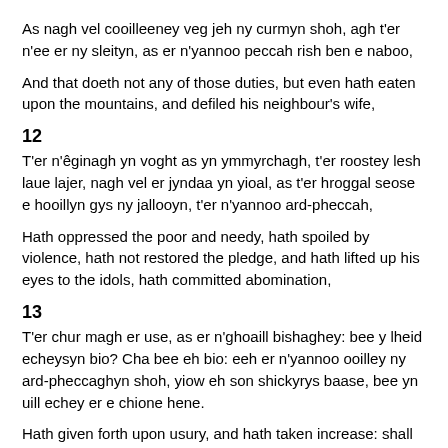As nagh vel cooilleeney veg jeh ny curmyn shoh, agh t'er n'ee er ny sleityn, as er n'yannoo peccah rish ben e naboo,
And that doeth not any of those duties, but even hath eaten upon the mountains, and defiled his neighbour's wife,
12
T'er n'êginagh yn voght as yn ymmyrchagh, t'er roostey lesh laue lajer, nagh vel er jyndaa yn yioal, as t'er hroggal seose e hooillyn gys ny jallooyn, t'er n'yannoo ard-pheccah,
Hath oppressed the poor and needy, hath spoiled by violence, hath not restored the pledge, and hath lifted up his eyes to the idols, hath committed abomination,
13
T'er chur magh er use, as er n'ghoaill bishaghey: bee y lheid echeysyn bio? Cha bee eh bio: eeh er n'yannoo ooilley ny ard-pheccaghyn shoh, yiow eh son shickyrys baase, bee yn uill echey er e chione hene.
Hath given forth upon usury, and hath taken increase: shall he then live? he shall not live: he hath done all these abominations; he shall surely die; his blood shall be upon him.